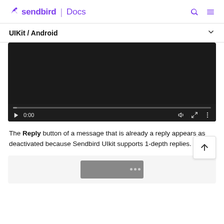sendbird | Docs
UIKit / Android
[Figure (screenshot): Embedded video player showing a black screen with playback controls: play button, timestamp 0:00, progress bar, volume icon, fullscreen icon, and more options icon.]
The Reply button of a message that is already a reply appears as deactivated because Sendbird UIkit supports 1-depth replies.
[Figure (screenshot): Partial screenshot of a UI showing a gray rounded rectangle with three small dots at the top right.]